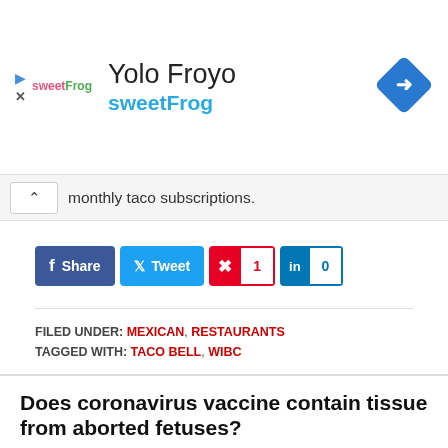[Figure (screenshot): sweetFrog Yolo Froyo advertisement banner with logo, title, subtitle, and navigation diamond icon]
monthly taco subscriptions.
f Share  Tweet  1  in  0
FILED UNDER: MEXICAN, RESTAURANTS
TAGGED WITH: TACO BELL, WIBC
Does coronavirus vaccine contain tissue from aborted fetuses?
JANUARY 7, 2022